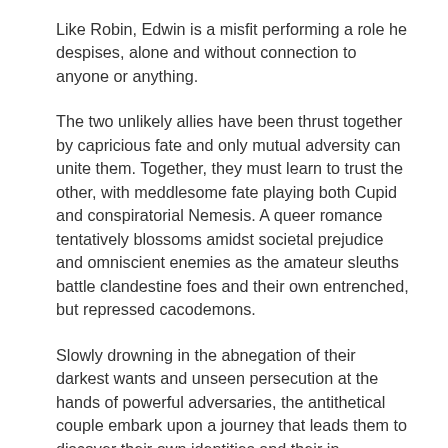Like Robin, Edwin is a misfit performing a role he despises, alone and without connection to anyone or anything.
The two unlikely allies have been thrust together by capricious fate and only mutual adversity can unite them. Together, they must learn to trust the other, with meddlesome fate playing both Cupid and conspiratorial Nemesis. A queer romance tentatively blossoms amidst societal prejudice and omniscient enemies as the amateur sleuths battle clandestine foes and their own entrenched, but repressed cacodemons.
Slowly drowning in the abnegation of their darkest wants and unseen persecution at the hands of powerful adversaries, the antithetical couple embark upon a journey that leads them to discover their own identities and their in...